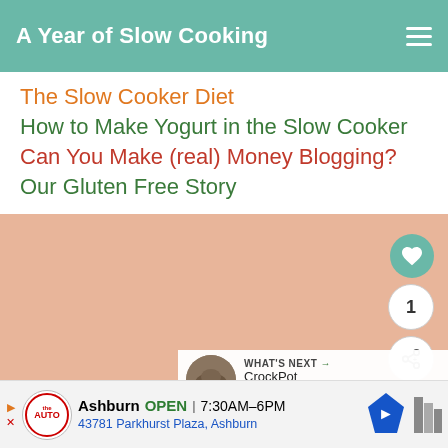A Year of Slow Cooking
The Slow Cooker Diet
How to Make Yogurt in the Slow Cooker
Can You Make (real) Money Blogging?
Our Gluten Free Story
[Figure (photo): Decorative salmon/peach colored background image area with social like button (heart icon), count of 1, and share button overlaid on right side. 'WHAT'S NEXT' panel showing CrockPot Green Bean... thumbnail.]
A Year of Slow Cooking ... participants in the Amazon ... advertising ... program ... rtising fees by
[Figure (other): Advertisement banner: the auto logo, Ashburn OPEN 7:30AM-6PM, 43781 Parkhurst Plaza, Ashburn, with navigation arrow icon and gray icon]